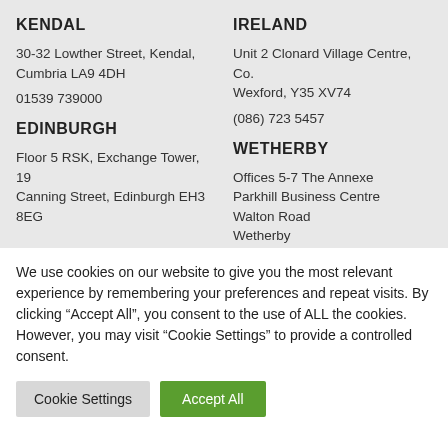KENDAL
30-32 Lowther Street, Kendal, Cumbria LA9 4DH
01539 739000
EDINBURGH
Floor 5 RSK, Exchange Tower, 19 Canning Street, Edinburgh EH3 8EG
IRELAND
Unit 2 Clonard Village Centre, Co. Wexford, Y35 XV74
(086) 723 5457
WETHERBY
Offices 5-7 The Annexe
Parkhill Business Centre
Walton Road
Wetherby
We use cookies on our website to give you the most relevant experience by remembering your preferences and repeat visits. By clicking “Accept All”, you consent to the use of ALL the cookies. However, you may visit "Cookie Settings" to provide a controlled consent.